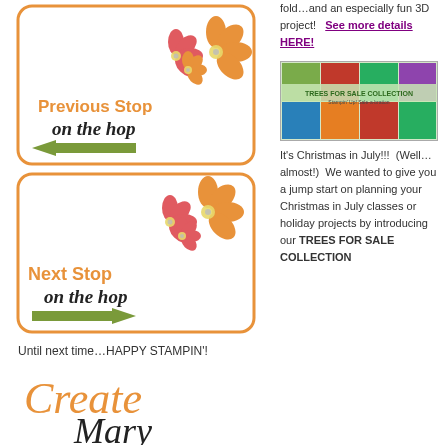[Figure (illustration): Previous Stop on the hop button - orange rounded rectangle border with flower illustration in top right, orange text 'Previous Stop', italic script 'on the hop', green left-pointing arrow]
[Figure (illustration): Next Stop on the hop button - orange rounded rectangle border with flower illustration in top right, orange text 'Next Stop', italic script 'on the hop', green right-pointing arrow]
Until next time…HAPPY STAMPIN'!
[Figure (logo): Create Mary signature logo in orange and black script]
fold…and an especially fun 3D project!  See more details HERE!
[Figure (illustration): Trees For Sale Collection promotional image - holiday-themed banner with trees and Christmas images]
It's Christmas in July!!!  (Well…almost!)  We wanted to give you a jump start on planning your Christmas in July classes or holiday projects by introducing our TREES FOR SALE COLLECTION